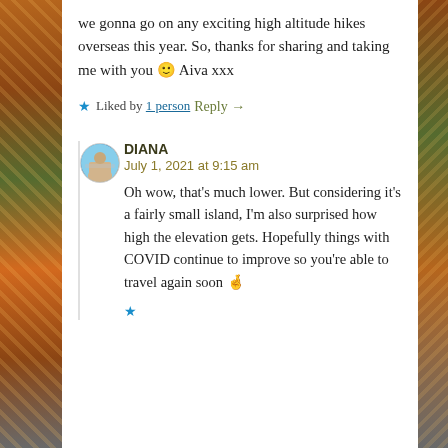we gonna go on any exciting high altitude hikes overseas this year. So, thanks for sharing and taking me with you 🙂 Aiva xxx
★ Liked by 1 person
Reply →
DIANA
July 1, 2021 at 9:15 am
Oh wow, that's much lower. But considering it's a fairly small island, I'm also surprised how high the elevation gets. Hopefully things with COVID continue to improve so you're able to travel again soon 🤞